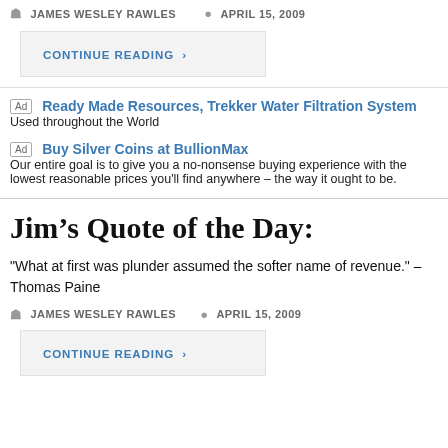JAMES WESLEY RAWLES   APRIL 15, 2009
CONTINUE READING ›
Ad  Ready Made Resources, Trekker Water Filtration System
Used throughout the World
Ad  Buy Silver Coins at BullionMax
Our entire goal is to give you a no-nonsense buying experience with the lowest reasonable prices you'll find anywhere – the way it ought to be.
Jim's Quote of the Day:
"What at first was plunder assumed the softer name of revenue." – Thomas Paine
JAMES WESLEY RAWLES   APRIL 15, 2009
CONTINUE READING ›